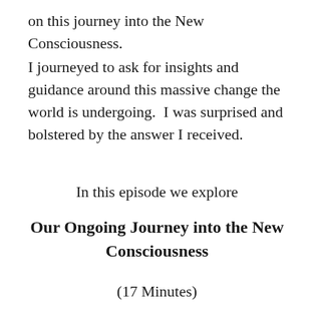on this journey into the New Consciousness.
I journeyed to ask for insights and guidance around this massive change the world is undergoing.  I was surprised and bolstered by the answer I received.
In this episode we explore
Our Ongoing Journey into the New Consciousness
(17 Minutes)